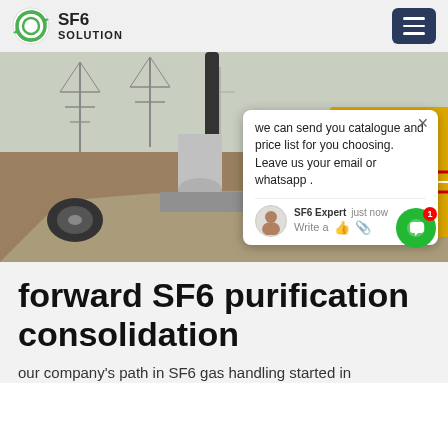SF6 SOLUTION
[Figure (photo): Outdoor electrical substation with large SF6 gas handling equipment, transmission towers in background, yellow equipment trailer visible, industrial site with SF6 purification machinery. A chat popup overlay reads: 'we can send you catalogue and price list for you choosing. Leave us your email or whatsapp .' with SF6 Expert avatar and 'just now' timestamp and 'Write a' reply prompt.]
forward SF6 purification consolidation
our company's path in SF6 gas handling started in